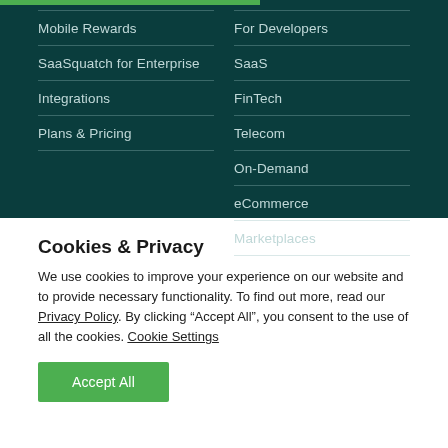Mobile Rewards
SaaSquatch for Enterprise
Integrations
Plans & Pricing
For Developers
SaaS
FinTech
Telecom
On-Demand
eCommerce
Marketplaces
Cookies & Privacy
We use cookies to improve your experience on our website and to provide necessary functionality. To find out more, read our Privacy Policy. By clicking “Accept All”, you consent to the use of all the cookies. Cookie Settings
Accept All